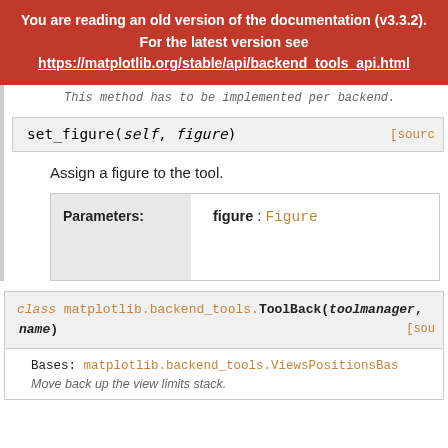You are reading an old version of the documentation (v3.3.2). For the latest version see https://matplotlib.org/stable/api/backend_tools_api.html
This method has to be implemented per backend.
set_figure(self, figure)  [source]
Assign a figure to the tool.
| Parameters: |  |
| --- | --- |
|  | figure : Figure |
class matplotlib.backend_tools.ToolBack(toolmanager, name)  [sou
Bases: matplotlib.backend_tools.ViewsPositionsBas
Move back up the view limits stack.